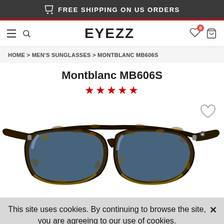FREE SHIPPING ON US ORDERS
[Figure (logo): EYEZZ logo with hamburger/search icon on left, heart wishlist icon with badge '0' and shopping bag icon on right]
HOME > MEN'S SUNGLASSES > MONTBLANC MB606S
Montblanc MB606S
★★★★★
[Figure (photo): Montblanc MB606S sunglasses in tortoise shell frame with blue lenses, angled view, with heart/wishlist button in top right corner]
This site uses cookies. By continuing to browse the site, you are agreeing to our use of cookies.